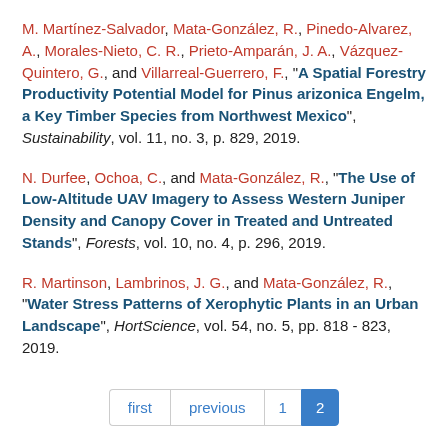M. Martínez-Salvador, Mata-González, R., Pinedo-Alvarez, A., Morales-Nieto, C. R., Prieto-Amparán, J. A., Vázquez-Quintero, G., and Villarreal-Guerrero, F., "A Spatial Forestry Productivity Potential Model for Pinus arizonica Engelm, a Key Timber Species from Northwest Mexico", Sustainability, vol. 11, no. 3, p. 829, 2019.
N. Durfee, Ochoa, C., and Mata-González, R., "The Use of Low-Altitude UAV Imagery to Assess Western Juniper Density and Canopy Cover in Treated and Untreated Stands", Forests, vol. 10, no. 4, p. 296, 2019.
R. Martinson, Lambrinos, J. G., and Mata-González, R., "Water Stress Patterns of Xerophytic Plants in an Urban Landscape", HortScience, vol. 54, no. 5, pp. 818 - 823, 2019.
first  previous  1  2